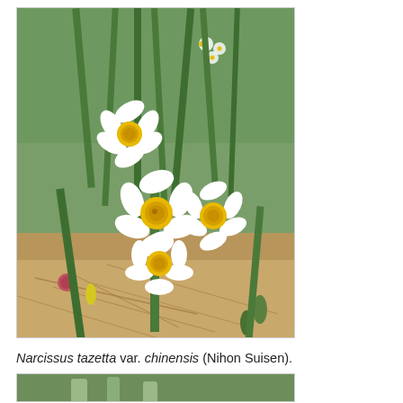[Figure (photo): Photograph of Narcissus tazetta var. chinensis (Nihon Suisen) flowers with white petals and yellow-orange centers, growing in a garden with green foliage and dried grass mulch in the background.]
Narcissus tazetta var. chinensis (Nihon Suisen).
[Figure (photo): Partial photograph of another plant, cropped at the bottom of the page.]